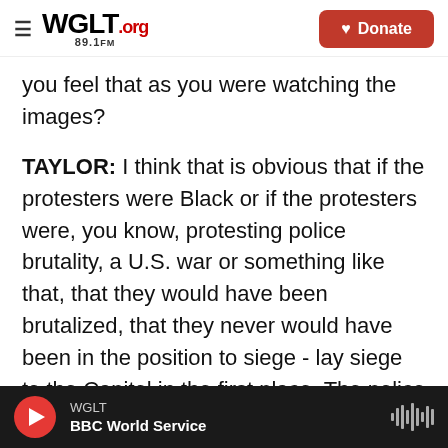WGLT.org 89.1FM — Donate
you feel that as you were watching the images?
TAYLOR: I think that is obvious that if the protesters were Black or if the protesters were, you know, protesting police brutality, a U.S. war or something like that, that they would have been brutalized, that they never would have been in the position to siege - lay siege to the Capitol in the first place. The police would have had a completely different reaction to them, as we saw all across the country this past summer in response to Black Lives Matter demonstrations. In the Capitol itself, we saw National Guard. We saw people in military uniforms
WGLT — BBC World Service